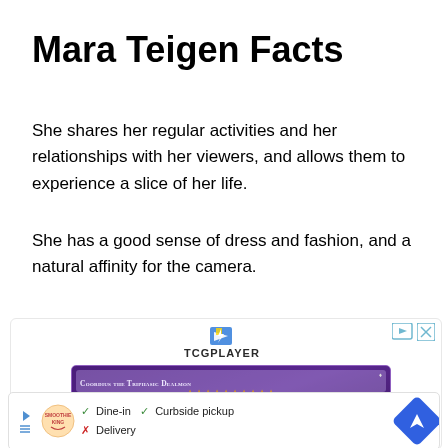Mara Teigen Facts
She shares her regular activities and her relationships with her viewers, and allows them to experience a slice of her life.
She has a good sense of dress and fashion, and a natural affinity for the camera.
[Figure (screenshot): TCGPlayer advertisement showing a Yu-Gi-Oh card 'Coordius the Triphasic Dealmon' with purple background and star ratings]